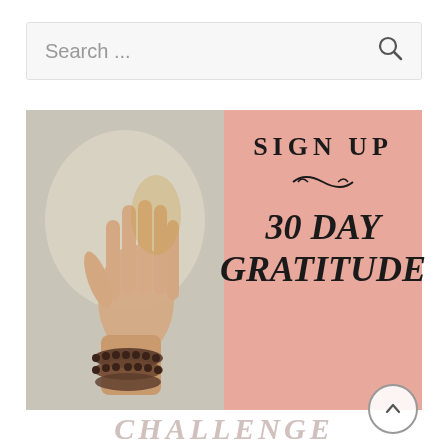[Figure (screenshot): Search bar UI element with placeholder text 'Search ...' and magnifying glass icon on right]
[Figure (illustration): Promotional image split in two halves: left half shows praying hands with beaded bracelets on a light gray background; right half is pink/salmon colored with bold text reading 'SIGN UP' with decorative swirl, '30 DAY' and 'GRATITUDE' in italic serif font, partially cut off 'CHALLENGE' text visible at bottom]